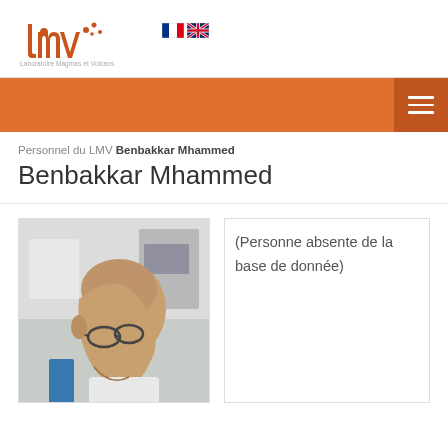[Figure (logo): LMV (Laboratoire Magmas et Volcans) logo in orange/brown color with flag icons for French and English]
Personnel du LMV Benbakkar Mhammed
Benbakkar Mhammed
[Figure (photo): Profile photo of Benbakkar Mhammed, a bald man with glasses working in a laboratory]
(Personne absente de la base de donnée)